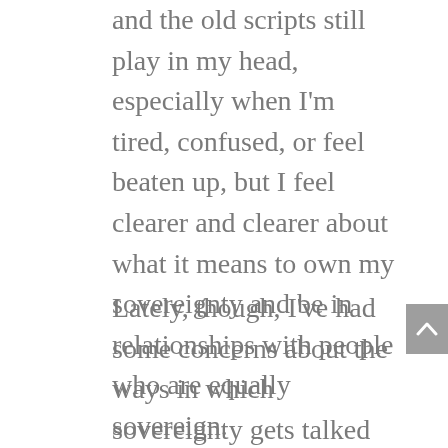and the old scripts still play in my head, especially when I'm tired, confused, or feel beaten up, but I feel clearer and clearer about what it means to own my sovereignty and be in relationships with people who are equally sovereign.
Lately, though, I've had some concerns about the ways in which sovereignty gets talked about, especially in the wellness/self-help industry. It's becoming an